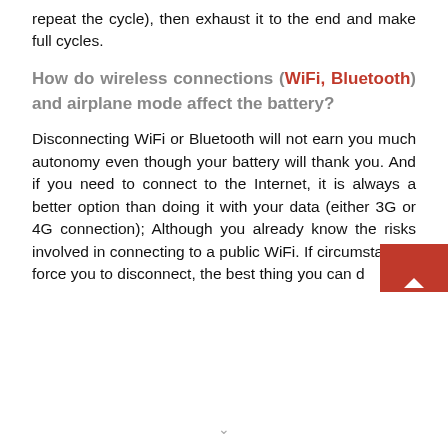repeat the cycle), then exhaust it to the end and make full cycles.
How do wireless connections (WiFi, Bluetooth) and airplane mode affect the battery?
Disconnecting WiFi or Bluetooth will not earn you much autonomy even though your battery will thank you. And if you need to connect to the Internet, it is always a better option than doing it with your data (either 3G or 4G connection); Although you already know the risks involved in connecting to a public WiFi. If circumstances force you to disconnect, the best thing you can d